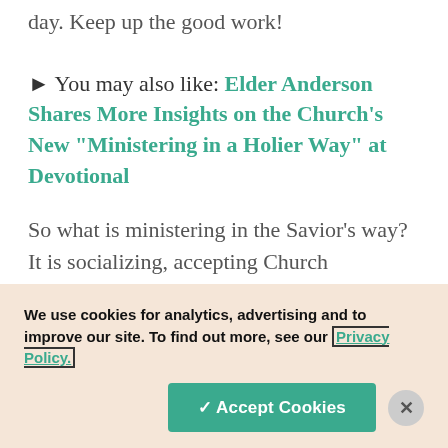day. Keep up the good work!
► You may also like: Elder Anderson Shares More Insights on the Church's New "Ministering in a Holier Way" at Devotional
So what is ministering in the Savior's way? It is socializing, accepting Church assignments, visiting and counseling, giving blessings, bringing the Spirit into people's lives to cast out the natural man in them and us, teaching, and parenting. Not as hard as we thought!
We use cookies for analytics, advertising and to improve our site. To find out more, see our Privacy Policy.